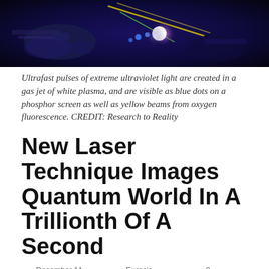[Figure (photo): Ultrafast laser experiment showing white plasma gas jet with extreme ultraviolet light pulses visible as blue dots on a phosphor screen and yellow beams from oxygen fluorescence]
Ultrafast pulses of extreme ultraviolet light are created in a gas jet of white plasma, and are visible as blue dots on a phosphor screen as well as yellow beams from oxygen fluorescence. CREDIT: Research to Reality
New Laser Technique Images Quantum World In A Trillionth Of A Second
December 11, 2019  Eurasia Review  0 Comments
By Eurasia Review
For the first time, researchers have been able to record, frame-by-frame, how an electron interacts with atoms in the quantum world. The